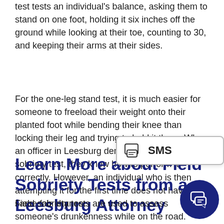test tests an individual's balance, asking them to stand on one foot, holding it six inches off the ground while looking at their toe, counting to 30, and keeping their arms at their sides.
For the one-leg stand test, it is much easier for someone to freeload their weight onto their planted foot while bending their knee than locking their leg and trying to hold it there. When an officer in Leesburg demonstrates this field sobriety test, they know how to perform it correctly. However, an individual who is then attempting it for the first time does not have the same fair chance.
Learn More about Field Sobriety Tests from a Leesburg Attorney
Field sobriety tests are used to assess someone's drunkenness while on the road. However, too many police officers do not provide proper instructions, causing drivers to